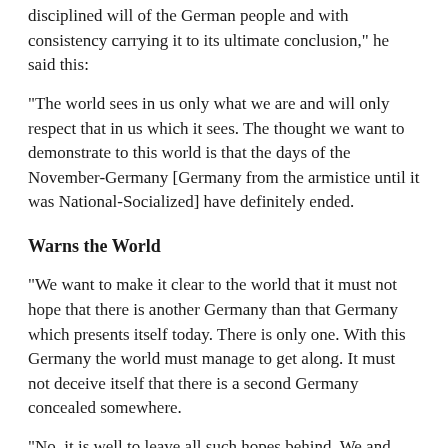disciplined will of the German people and with consistency carrying it to its ultimate conclusion," he said this:
"The world sees in us only what we are and will only respect that in us which it sees. The thought we want to demonstrate to this world is that the days of the November-Germany [Germany from the armistice until it was National-Socialized] have definitely ended.
Warns the World
"We want to make it clear to the world that it must not hope that there is another Germany than that Germany which presents itself today. There is only one. With this Germany the world must manage to get along. It must not deceive itself that there is a second Germany concealed somewhere.
"No, it is well to leave all such hopes behind. We and you [the storm troops] are the guarantee of the cause